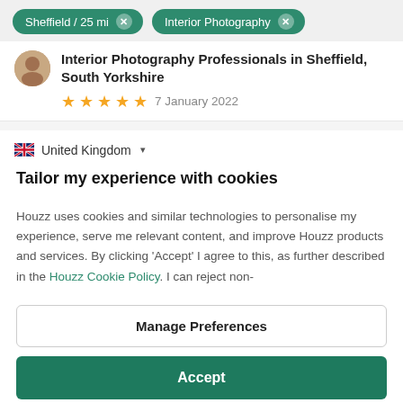Sheffield / 25 mi  ×    Interior Photography  ×
Interior Photography Professionals in Sheffield, South Yorkshire
★★★★★  7 January 2022
🇬🇧 United Kingdom ▾
Tailor my experience with cookies
Houzz uses cookies and similar technologies to personalise my experience, serve me relevant content, and improve Houzz products and services. By clicking 'Accept' I agree to this, as further described in the Houzz Cookie Policy. I can reject non-
Manage Preferences
Accept